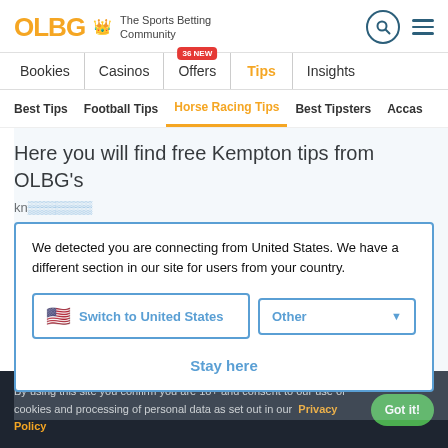OLBG – The Sports Betting Community
Bookies | Casinos | Offers (36 NEW) | Tips | Insights
Best Tips | Football Tips | Horse Racing Tips | Best Tipsters | Accas
Here you will find free Kempton tips from OLBG's
We detected you are connecting from United States. We have a different section in our site for users from your country.
Switch to United States
Other
Stay here
By using this site you confirm you are 18+ and consent to our use of cookies and processing of personal data as set out in our Privacy Policy